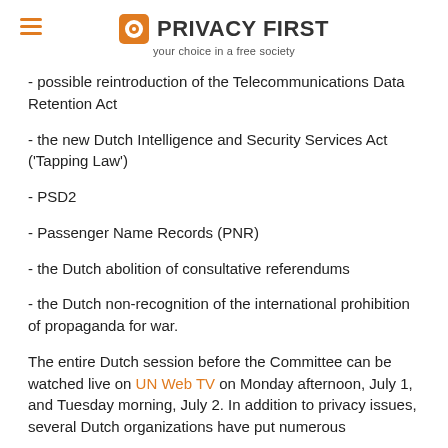PRIVACY FIRST — your choice in a free society
- possible reintroduction of the Telecommunications Data Retention Act
- the new Dutch Intelligence and Security Services Act ('Tapping Law')
- PSD2
- Passenger Name Records (PNR)
- the Dutch abolition of consultative referendums
- the Dutch non-recognition of the international prohibition of propaganda for war.
The entire Dutch session before the Committee can be watched live on UN Web TV on Monday afternoon, July 1, and Tuesday morning, July 2. In addition to privacy issues, several Dutch organizations have put numerous